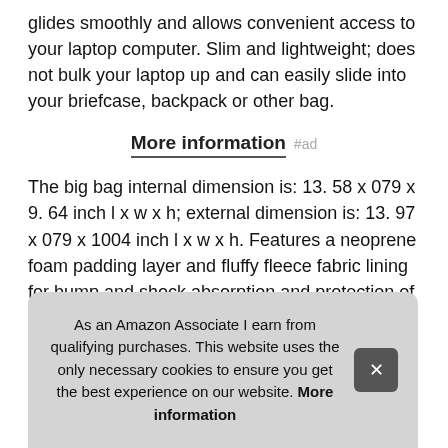glides smoothly and allows convenient access to your laptop computer. Slim and lightweight; does not bulk your laptop up and can easily slide into your briefcase, backpack or other bag.
More information #ad
The big bag internal dimension is: 13. 58 x 079 x 9. 64 inch l x w x h; external dimension is: 13. 97 x 079 x 1004 inch l x w x h. Features a neoprene foam padding layer and fluffy fleece fabric lining for bump and shock absorption and protection of your computer from accidental scratches.
Compatible with macbook pro 14 inch 2021 a2442 m1 pro/m1 max a14 3/2 201 com 12
As an Amazon Associate I earn from qualifying purchases. This website uses the only necessary cookies to ensure you get the best experience on our website. More information